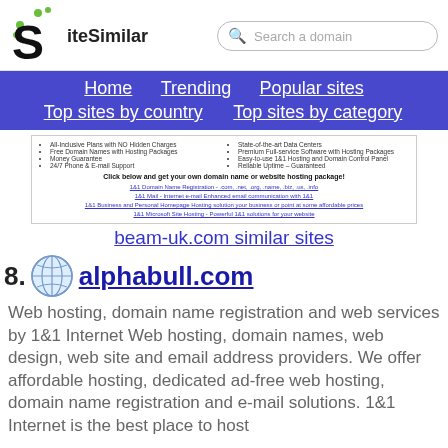SiteSimilar — Search a domain
[Figure (screenshot): Navigation bar with Home, Trending, Popular sites, Top sites by country, Top sites by category links on blue background]
[Figure (screenshot): Ad banner for domain/hosting services, beam-uk.com similar sites]
beam-uk.com similar sites
58. alphabull.com
Web hosting, domain name registration and web services by 1&1 Internet Web hosting, domain names, web design, web site and email address providers. We offer affordable hosting, dedicated ad-free web hosting, domain name registration and e-mail solutions. 1&1 Internet is the best place to host